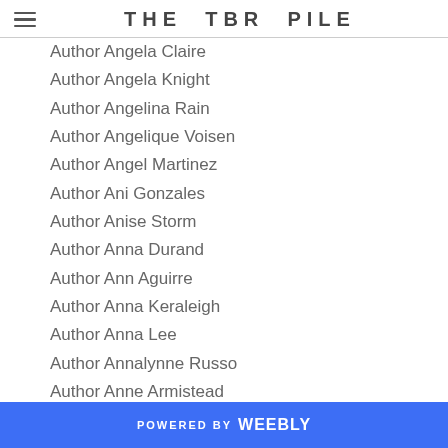THE TBR PILE
Author Angela Claire
Author Angela Knight
Author Angelina Rain
Author Angelique Voisen
Author Angel Martinez
Author Ani Gonzales
Author Anise Storm
Author Anna Durand
Author Ann Aguirre
Author Anna Keraleigh
Author Anna Lee
Author Annalynne Russo
Author Anne Armistead
Author Anne Kane
Author Anne McCaffrey
Author Anne Wentworth
Author Annie Harland Creek
Author Annie Morgan
POWERED BY weebly